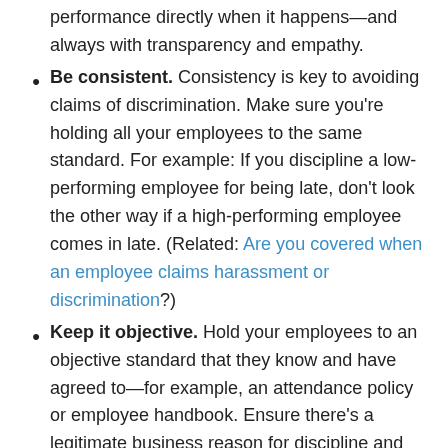performance directly when it happens—and always with transparency and empathy.
Be consistent. Consistency is key to avoiding claims of discrimination. Make sure you're holding all your employees to the same standard. For example: If you discipline a low-performing employee for being late, don't look the other way if a high-performing employee comes in late. (Related: Are you covered when an employee claims harassment or discrimination?)
Keep it objective. Hold your employees to an objective standard that they know and have agreed to—for example, an attendance policy or employee handbook. Ensure there's a legitimate business reason for discipline and avoid the temptation to provide overly subjective feedback.